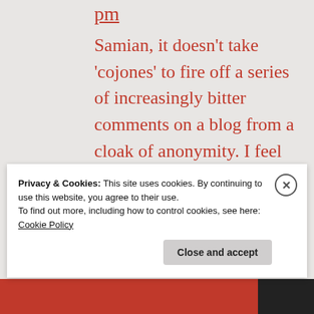pm
Samian, it doesn’t take ‘cojones’ to fire off a series of increasingly bitter comments on a blog from a cloak of anonymity. I feel genuinely sorry for you if you’ve deluded yourself to
Privacy & Cookies: This site uses cookies. By continuing to use this website, you agree to their use.
To find out more, including how to control cookies, see here:
Cookie Policy
Close and accept